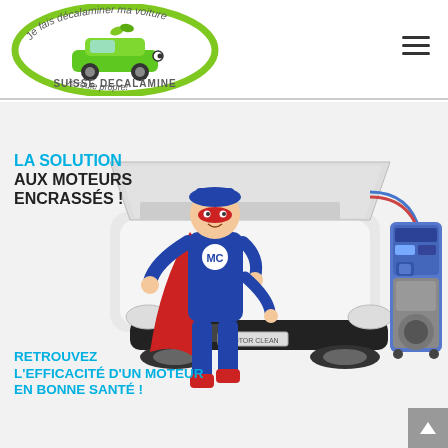[Figure (logo): Suisse Decalamine logo — oval green ring with text 'Je fais décalaminer ma voiture' on top, cartoon green car in center, 'SUISSE DECALAMINE' text below car, 'Je roule propre!' at bottom of oval]
[Figure (illustration): Promotional image showing a superhero mechanic character in blue and red costume standing next to a white car with open hood connected to a blue engine cleaning machine (Motor Clean). Text overlays: 'LA SOLUTION AUX MOTEURS ENCRASSÉS !' in top-left and 'RETROUVEZ L'EFFICACITÉ D'UN MOTEUR EN BONNE SANTÉ !' in bottom-left.]